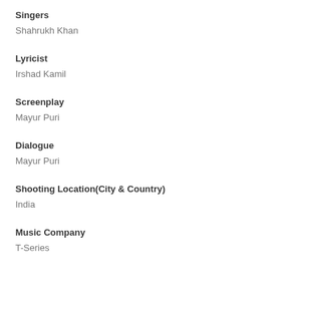Singers
Shahrukh Khan
Lyricist
Irshad Kamil
Screenplay
Mayur Puri
Dialogue
Mayur Puri
Shooting Location(City & Country)
India
Music Company
T-Series